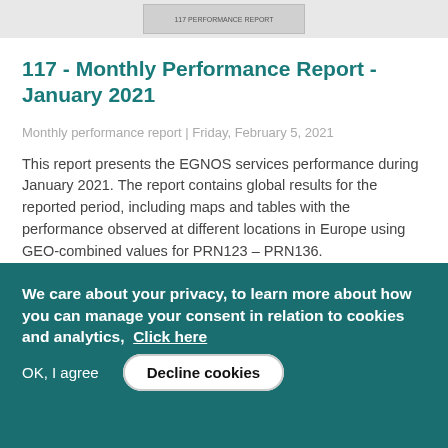[Figure (screenshot): Thumbnail image of a document page, showing a small label in a box]
117 - Monthly Performance Report - January 2021
Monthly performance report | Friday, February 5, 2021
This report presents the EGNOS services performance during January 2021. The report contains global results for the reported period, including maps and tables with the performance observed at different locations in Europe using GEO-combined values for PRN123 – PRN136.
A list of the stations analyzed in this report,
We care about your privacy, to learn more about how you can manage your consent in relation to cookies and analytics,  Click here
OK, I agree
Decline cookies